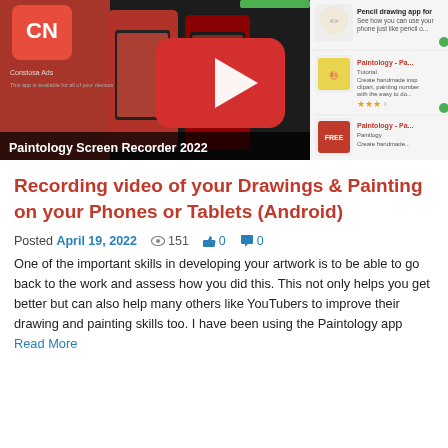[Figure (screenshot): YouTube video thumbnail for Paintology Screen Recorder 2022, showing app screenshots and Google Play store listings with a red YouTube play button overlay. A dark bar at the bottom reads 'Paintology Screen Recorder 2022'.]
Recording video of your Drawings & Painting on your Phones or Tablets (Android)
Posted April 19, 2022  👁 151  👍 0  💬 0
One of the important skills in developing your artwork is to be able to go back to the work and assess how you did this. This not only helps you get better but can also help many others like YouTubers to improve their drawing and painting skills too. I have been using the Paintology app Read More